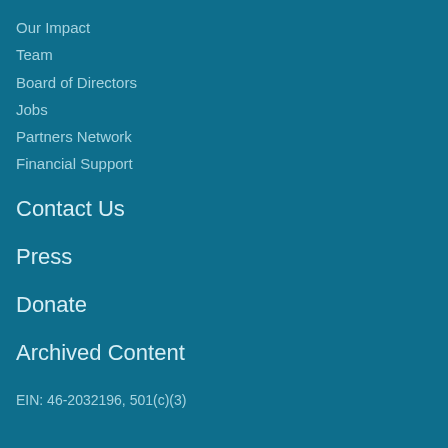Our Impact
Team
Board of Directors
Jobs
Partners Network
Financial Support
Contact Us
Press
Donate
Archived Content
EIN: 46-2032196, 501(c)(3)